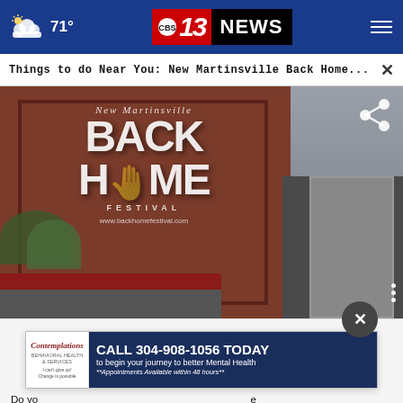71° CBS 13 NEWS
Things to do Near You: New Martinsville Back Home... ×
[Figure (photo): Brick building wall with 'New Martinsville Back Home Festival' logo painted on it. Website www.backhomefestival.com shown below the logo.]
Do you... Clarence Thomas, could potentially face charges for her efforts...
[Figure (advertisement): Ad for Contemplations mental health services. CALL 304-908-1056 TODAY to begin your journey to better Mental Health. **Appointments Available within 48 hours**]